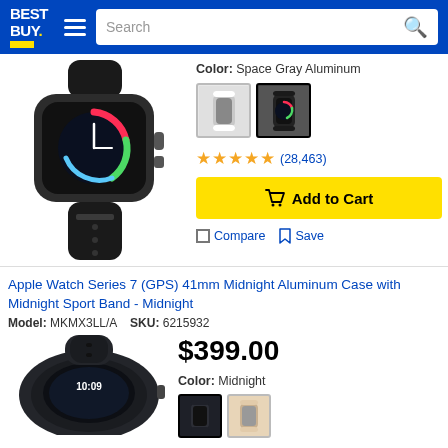Best Buy - Search
[Figure (photo): Apple Watch Series 3 in Space Gray Aluminum with black sport band]
Color: Space Gray Aluminum
[Figure (photo): Color swatches: Silver/White (unselected) and Space Gray/Black (selected)]
★★★★★ (28,463)
Add to Cart
Compare  Save
Apple Watch Series 7 (GPS) 41mm Midnight Aluminum Case with Midnight Sport Band - Midnight
Model: MKMX3LL/A  SKU: 6215932
$399.00
Color: Midnight
[Figure (photo): Apple Watch Series 7 Midnight color, partial view from above]